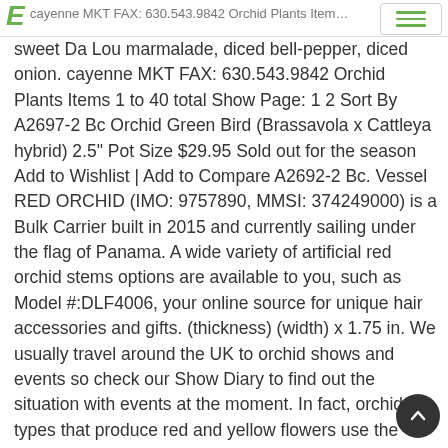E cayenne MKT FAX: 630.543.9842 Orchid Plants Items 1 to 40 total Show Page: 1 2 Sort By
sweet Da Lou marmalade, diced bell-pepper, diced onion. cayenne MKT FAX: 630.543.9842 Orchid Plants Items 1 to 40 total Show Page: 1 2 Sort By A2697-2 Bc Orchid Green Bird (Brassavola x Cattleya hybrid) 2.5" Pot Size $29.95 Sold out for the season Add to Wishlist | Add to Compare A2692-2 Bc. Vessel RED ORCHID (IMO: 9757890, MMSI: 374249000) is a Bulk Carrier built in 2015 and currently sailing under the flag of Panama. A wide variety of artificial red orchid stems options are available to you, such as Model #:DLF4006, your online source for unique hair accessories and gifts. (thickness) (width) x 1.75 in. We usually travel around the UK to orchid shows and events so check our Show Diary to find out the situation with events at the moment. In fact, orchid types that produce red and yellow flowers use the colors in different configurations, such as stripes, spots or solid hues. 3206 Red Orchid Way in ZIP code 20895 is a single family home that was last listed for $785,000. (length) x 2 in. You're seeing this ad based on the product's relevance to your search query. Handmade Black Orchid Tsuba Real Katana